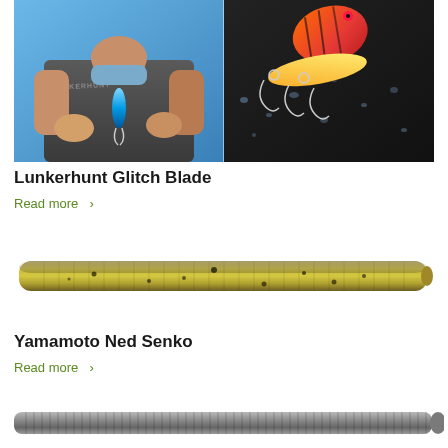[Figure (photo): Split image: left side shows a person in a gray Lunkerhunt shirt holding a blue fishing lure with both hands against a blue sky background; right side shows an orange-red and yellow fishing lure with hooks on a dark wet surface.]
Lunkerhunt Glitch Blade
Read more >
[Figure (photo): Yamamoto Ned Senko fishing lure - a slender worm-style soft plastic bait with yellow-green coloring and dark speckles, on white background.]
Yamamoto Ned Senko
Read more >
[Figure (photo): Gray-silver ribbed worm-style fishing lure partially visible at the bottom of the page.]